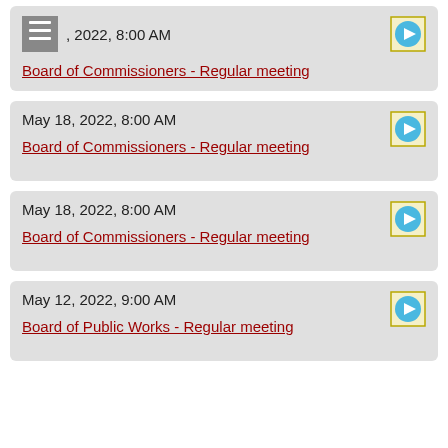[menu icon] , 2022, 8:00 AM
Board of Commissioners - Regular meeting
May 18, 2022, 8:00 AM
Board of Commissioners - Regular meeting
May 18, 2022, 8:00 AM
Board of Commissioners - Regular meeting
May 12, 2022, 9:00 AM
Board of Public Works - Regular meeting